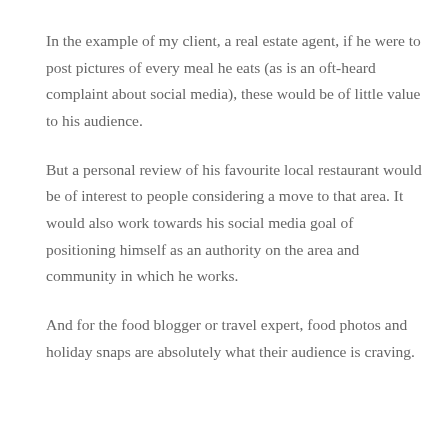In the example of my client, a real estate agent, if he were to post pictures of every meal he eats (as is an oft-heard complaint about social media), these would be of little value to his audience.
But a personal review of his favourite local restaurant would be of interest to people considering a move to that area. It would also work towards his social media goal of positioning himself as an authority on the area and community in which he works.
And for the food blogger or travel expert, food photos and holiday snaps are absolutely what their audience is craving.